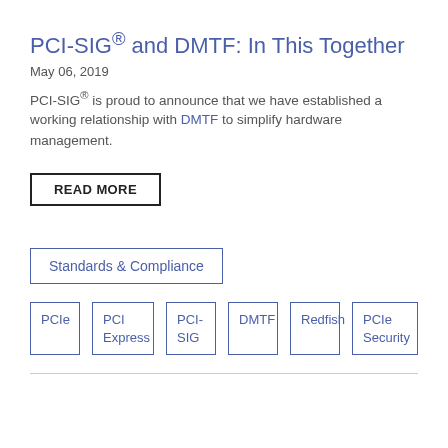PCI-SIG® and DMTF: In This Together
May 06, 2019
PCI-SIG® is proud to announce that we have established a working relationship with DMTF to simplify hardware management.
READ MORE
Standards & Compliance
PCIe
PCI Express
PCI-SIG
DMTF
Redfish
PCIe Security